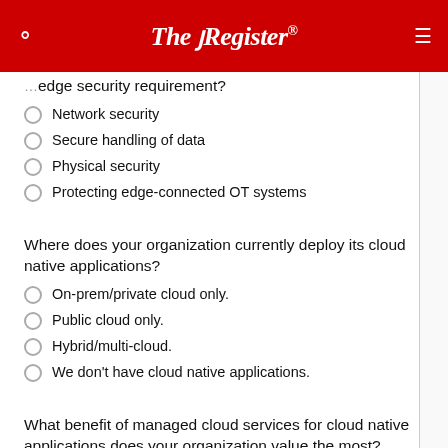The Register
What is your organization's most critical edge security requirement?
Network security
Secure handling of data
Physical security
Protecting edge-connected OT systems
Where does your organization currently deploy its cloud native applications?
On-prem/private cloud only.
Public cloud only.
Hybrid/multi-cloud.
We don't have cloud native applications.
What benefit of managed cloud services for cloud native applications does your organization value the most?
Improved operational efficiency.